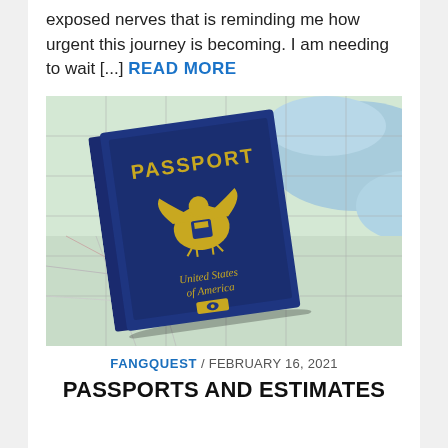exposed nerves that is reminding me how urgent this journey is becoming. I am needing to wait [...] READ MORE
[Figure (photo): A US Passport book laying on top of a world map. The navy blue passport cover reads PASSPORT at the top and United States of America near the bottom, with the US eagle seal embossed in gold in the center.]
FANGQUEST / FEBRUARY 16, 2021
PASSPORTS AND ESTIMATES